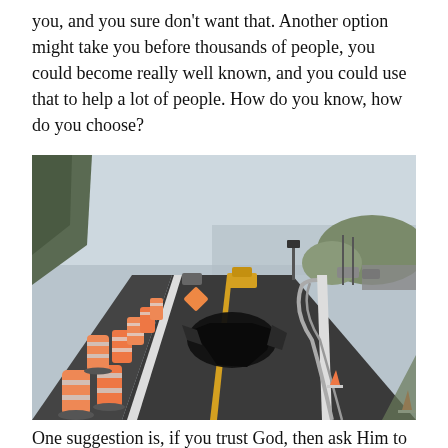you, and you sure don't want that. Another option might take you before thousands of people, you could become really well known, and you could use that to help a lot of people. How do you know, how do you choose?
[Figure (photo): A highway road that has collapsed or sunk, creating a large sinkhole in the pavement. Orange traffic barrels and cones line the left side of the road. Construction vehicles and equipment are visible in the background. The road curves away and a guardrail on the right side is warped and bent over the collapse. Rocky hillside on the left, ocean or bay visible in the distance.]
One suggestion is, if you trust God, then ask Him to close